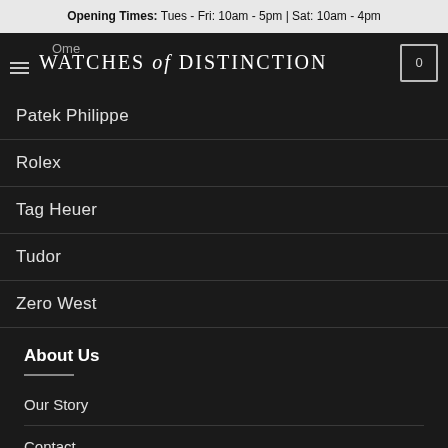Opening Times: Tues - Fri: 10am - 5pm | Sat: 10am - 4pm
WATCHES of DISTINCTION
Patek Philippe
Rolex
Tag Heuer
Tudor
Zero West
About Us
Our Story
Contact